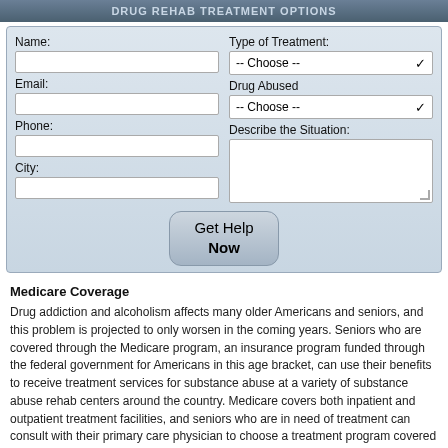Drug Rehab Treatment Options
Name: | Type of Treatment: | Email: | Drug Abused | Phone: | Describe the Situation: | City: | Get Help Now
Medicare Coverage
Drug addiction and alcoholism affects many older Americans and seniors, and this problem is projected to only worsen in the coming years. Seniors who are covered through the Medicare program, an insurance program funded through the federal government for Americans in this age bracket, can use their benefits to receive treatment services for substance abuse at a variety of substance abuse rehab centers around the country. Medicare covers both inpatient and outpatient treatment facilities, and seniors who are in need of treatment can consult with their primary care physician to choose a treatment program covered by Medicare which would fit his or her particular needs.